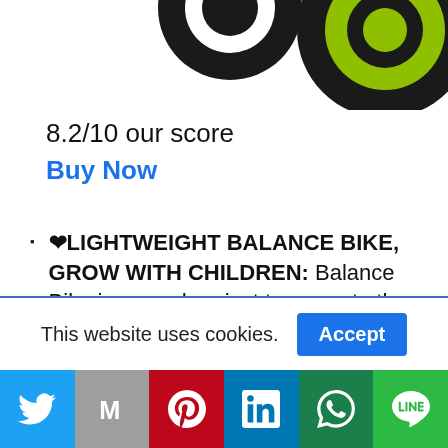[Figure (photo): Partial product photo showing two bicycle wheels (one black, one black with green/yellow hub) against a white background, partially cropped at the top of the page.]
8.2/10 our score
Buy Now
❤LIGHTWEIGHT BALANCE BIKE, GROW WITH CHILDREN: Balance Bike is a good project to promote the development of children sport. By learning how to play with the balance bike can exercise kids' balance ability and training their physical response through playing. Designed with no pedals, the balance bike will
This website uses cookies.
Social share bar: Twitter, Gmail, Pinterest, LinkedIn, WhatsApp, Line